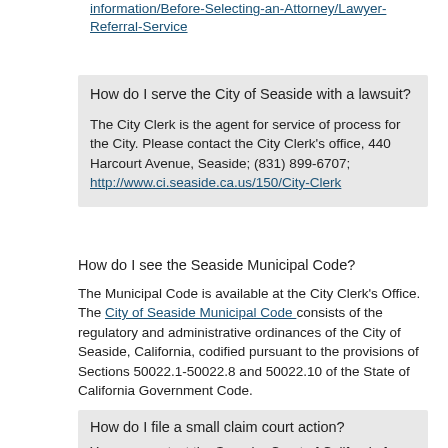information/Before-Selecting-an-Attorney/Lawyer-Referral-Service
How do I serve the City of Seaside with a lawsuit?
The City Clerk is the agent for service of process for the City. Please contact the City Clerk’s office, 440 Harcourt Avenue, Seaside; (831) 899-6707; http://www.ci.seaside.ca.us/150/City-Clerk
How do I see the Seaside Municipal Code?
The Municipal Code is available at the City Clerk’s Office. The City of Seaside Municipal Code consists of the regulatory and administrative ordinances of the City of Seaside, California, codified pursuant to the provisions of Sections 50022.1-50022.8 and 50022.10 of the State of California Government Code.
How do I file a small claim court action?
You may contact the Superior Court of California for the...